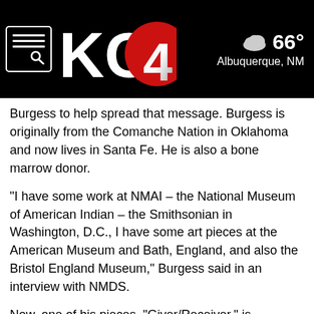KOB 4 — 66° Albuquerque, NM
Burgess to help spread that message. Burgess is originally from the Comanche Nation in Oklahoma and now lives in Santa Fe. He is also a bone marrow donor.
"I have some work at NMAI – the National Museum of American Indian – the Smithsonian in Washington, D.C., I have some art pieces at the American Museum and Bath, England, and also the Bristol England Museum," Burgess said in an interview with NMDS.
Now, one of his pieces, "Giver/Receiver," is displayed at San Juan Regional Medical Center in Farmington.
"The idea was that the image is either giving this heart or receiving this heart for the purpose of life, you know, continuing life, either for themselves or for somebody else,"